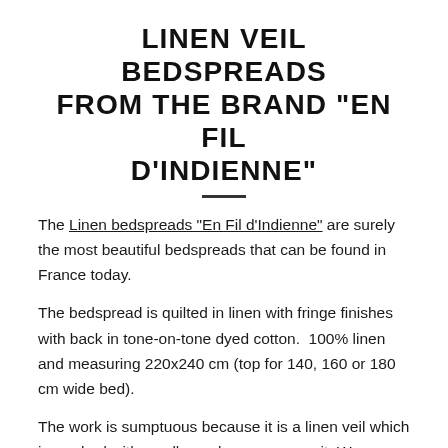LINEN VEIL BEDSPREADS FROM THE BRAND "EN FIL D'INDIENNE"
The Linen bedspreads "En Fil d'Indienne" are surely the most beautiful bedspreads that can be found in France today.
The bedspread is quilted in linen with fringe finishes with back in tone-on-tone dyed cotton. 100% linen and measuring 220x240 cm (top for 140, 160 or 180 cm wide bed).
The work is sumptuous because it is a linen veil which is washed with small ecru bows sewn on it. We are really in the Indian style as indicated by the name of the brand.